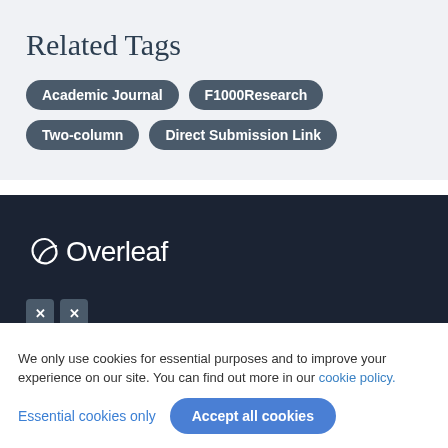Related Tags
Academic Journal
F1000Research
Two-column
Direct Submission Link
[Figure (logo): Overleaf logo — stylized leaf icon followed by the word 'Overleaf' in white on dark background]
xx
Learn
About us
LaTeX in 30 minutes
We only use cookies for essential purposes and to improve your experience on our site. You can find out more in our cookie policy.
Essential cookies only
Accept all cookies